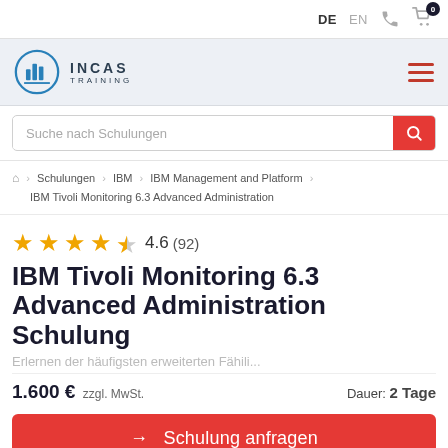DE  EN
[Figure (logo): INCAS Training logo with circular bar-chart icon and text INCAS TRAINING]
Suche nach Schulungen
⌂ > Schulungen > IBM > IBM Management and Platform > IBM Tivoli Monitoring 6.3 Advanced Administration
★★★★½ 4.6 (92)
IBM Tivoli Monitoring 6.3 Advanced Administration Schulung
1.600 € zzgl. MwSt.   Dauer: 2 Tage
→ Schulung anfragen